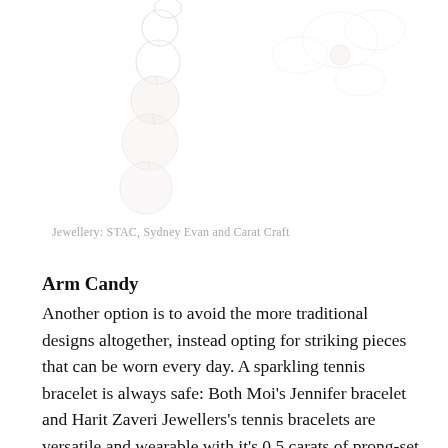[Figure (photo): Faint/ghosted photographs of jewellery pieces — appears to show a vertical strand of graduated beads/stones on the left and a decorative jewellery piece on the upper right, both rendered in very light pinkish-grey tones against white background.]
Jewellery: STAC, Sydney Evan and Carat Craft
Arm Candy
Another option is to avoid the more traditional designs altogether, instead opting for striking pieces that can be worn every day. A sparkling tennis bracelet is always safe: Both Moi's Jennifer bracelet and Harit Zaveri Jewellers's tennis bracelets are versatile and wearable with it's 0.5 carats of prong-set brilliant-cut natural diamonds. For a more bold option try Innocence's tennis bracelet which features an invisible set diamond centrepiece, surrounded by natural diamonds.